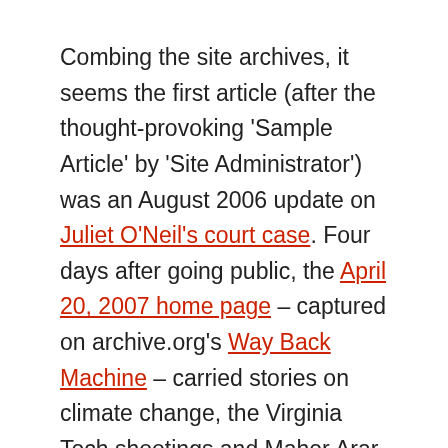Combing the site archives, it seems the first article (after the thought-provoking 'Sample Article' by 'Site Administrator') was an August 2006 update on Juliet O'Neil's court case. Four days after going public, the April 20, 2007 home page – captured on archive.org's Way Back Machine – carried stories on climate change, the Virginia Tech shootings and Maher Arar.
Today J-Source is followed by news hounds across the land in English and French, on the Web, Twitter and Facebook. At the helm, Ivor could always be